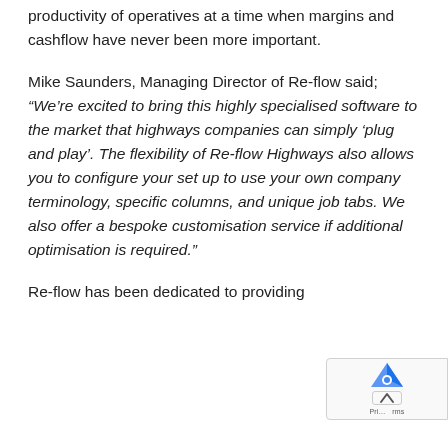productivity of operatives at a time when margins and cashflow have never been more important.
Mike Saunders, Managing Director of Re-flow said; “We’re excited to bring this highly specialised software to the market that highways companies can simply ‘plug and play’. The flexibility of Re-flow Highways also allows you to configure your set up to use your own company terminology, specific columns, and unique job tabs. We also offer a bespoke customisation service if additional optimisation is required.”
Re-flow has been dedicated to providing